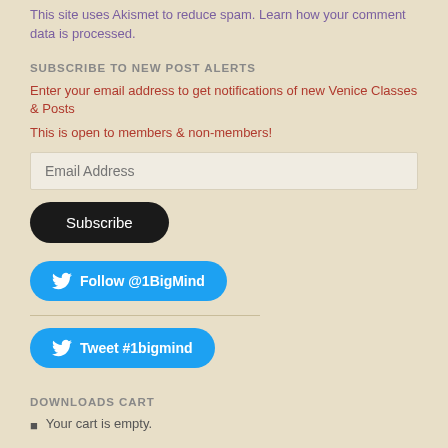This site uses Akismet to reduce spam. Learn how your comment data is processed.
SUBSCRIBE TO NEW POST ALERTS
Enter your email address to get notifications of new Venice Classes & Posts
This is open to members & non-members!
[Figure (screenshot): Email address input field with placeholder text 'Email Address']
[Figure (screenshot): Black rounded Subscribe button]
[Figure (screenshot): Twitter button: Follow @1BigMind]
[Figure (screenshot): Twitter button: Tweet #1bigmind]
DOWNLOADS CART
Your cart is empty.
TESTIMONIALS